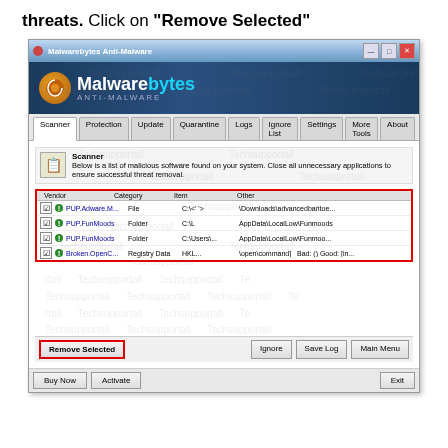threats. Click on "Remove Selected"
[Figure (screenshot): Malwarebytes Anti-Malware application window showing Scanner tab with 4 detected threats listed (PUP.Adware.M - File, PUP.FunMoods - Folder x2, Broken.OpenC - Registry Data), highlighted in a red box. The Remove Selected button is also highlighted with a red box at the bottom.]